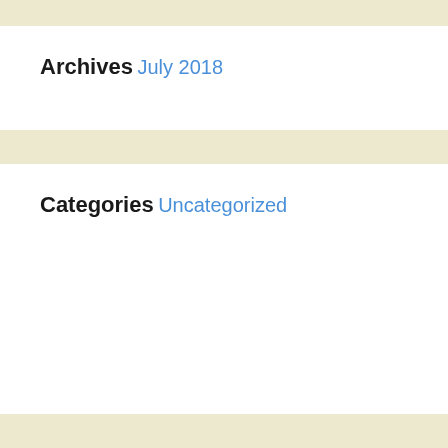Archives
July 2018
Categories
Uncategorized